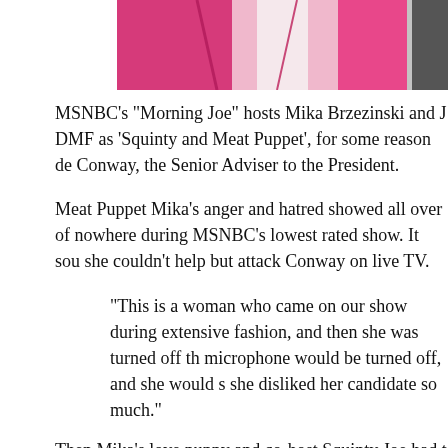[Figure (photo): Partial photo of a person wearing a bright pink/magenta blazer or top, cropped at the top of the page]
MSNBC's “Morning Joe” hosts Mika Brzezinski and J DMF as 'Squinty and Meat Puppet', for some reason de Conway, the Senior Adviser to the President.
Meat Puppet Mika's anger and hatred showed all over of nowhere during MSNBC’s lowest rated show. It sou she couldn’t help but attack Conway on live TV.
“This is a woman who came on our show during extensive fashion, and then she was turned off th microphone would be turned off, and she would s she disliked her candidate so much.”
Then,Mika's love puppy and co-host Squinty Joe had t
"She said this is just my summer vacation, my su